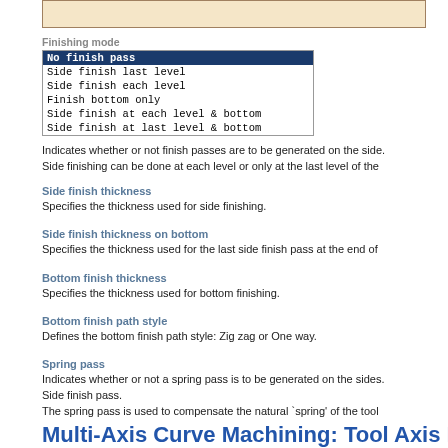[Figure (screenshot): Screenshot of a UI element - beige/tan colored box at top]
Finishing mode
[Figure (screenshot): Dropdown list showing finishing mode options: No finish pass (selected/highlighted), Side finish last level, Side finish each level, Finish bottom only, Side finish at each level & bottom, Side finish at last level & bottom]
Indicates whether or not finish passes are to be generated on the side. Side finishing can be done at each level or only at the last level of the
Side finish thickness
Specifies the thickness used for side finishing.
Side finish thickness on bottom
Specifies the thickness used for the last side finish pass at the end of
Bottom finish thickness
Specifies the thickness used for bottom finishing.
Bottom finish path style
Defines the bottom finish path style: Zig zag or One way.
Spring pass
Indicates whether or not a spring pass is to be generated on the sides. Side finish pass.
The spring pass is used to compensate the natural `spring' of the tool
Multi-Axis Curve Machining: Tool Axis Para